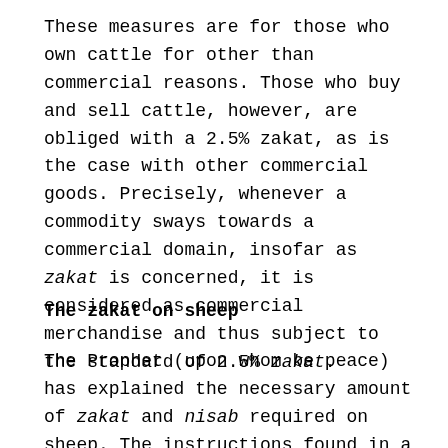These measures are for those who own cattle for other than commercial reasons. Those who buy and sell cattle, however, are obliged with a 2.5% zakat, as is the case with other commercial goods. Precisely, whenever a commodity sways towards a commercial domain, insofar as zakat is concerned, it is considered as commercial merchandise and thus subject to the standard of 2.5% zakat.
The zakat on sheep
The Prophet (upon whom be peace) has explained the necessary amount of zakat and nisab required on sheep. The instructions found in a treatise dictated